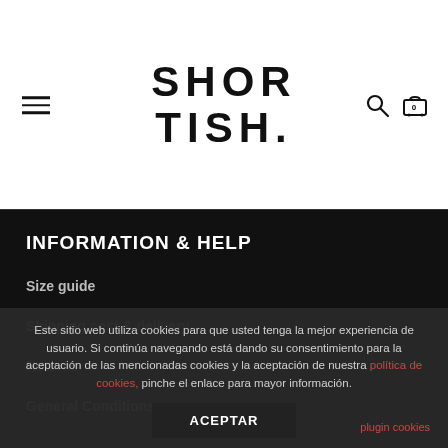[Figure (logo): Shortish brand logo with hamburger menu icon on left and search/cart icons on right]
INFORMATION & HELP
Size guide
Shipping cost & delivery
Returns
General Conditions
Este sitio web utiliza cookies para que usted tenga la mejor experiencia de usuario. Si continúa navegando está dando su consentimiento para la aceptación de las mencionadas cookies y la aceptación de nuestra política de cookies, pinche el enlace para mayor información.
plugin cookies
ACEPTAR